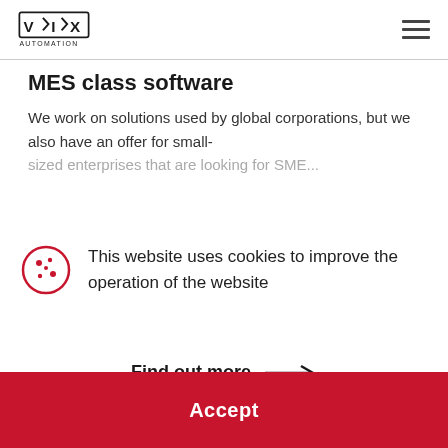VIX AUTOMATION
MES class software
We work on solutions used by global corporations, but we also have an offer for small-
This website uses cookies to improve the operation of the website
Find out more →
Accept